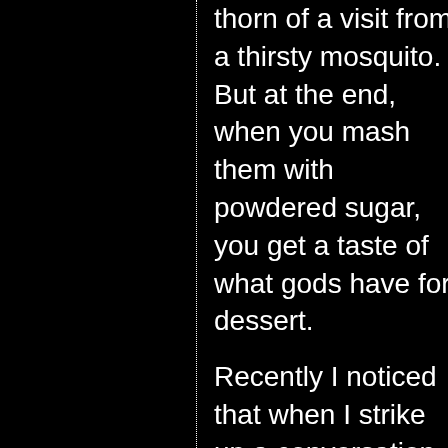thorn of a visit from a thirsty mosquito. But at the end, when you mash them with powdered sugar, you get a taste of what gods have for dessert.

Recently I noticed that when I strike up a conversation with my friends and acquaintances, instead of hearing their life stories, I get to listen to those they saw in movies and TV shows. Sure